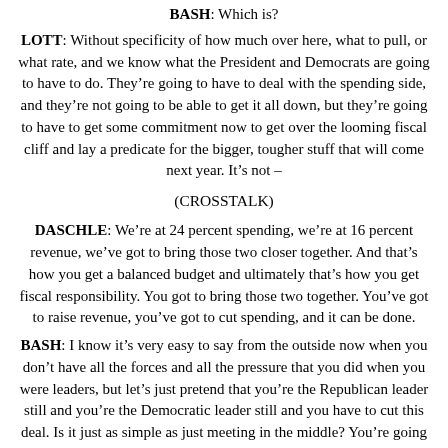BASH: Which is?
LOTT: Without specificity of how much over here, what to pull, or what rate, and we know what the President and Democrats are going to have to do. They're going to have to deal with the spending side, and they're not going to be able to get it all down, but they're going to have to get some commitment now to get over the looming fiscal cliff and lay a predicate for the bigger, tougher stuff that will come next year. It's not –
(CROSSTALK)
DASCHLE: We're at 24 percent spending, we're at 16 percent revenue, we've got to bring those two closer together. And that's how you get a balanced budget and ultimately that's how you get fiscal responsibility. You got to bring those two together. You've got to raise revenue, you've got to cut spending, and it can be done.
BASH: I know it's very easy to say from the outside now when you don't have all the forces and all the pressure that you did when you were leaders, but let's just pretend that you're the Republican leader still and you're the Democratic leader still and you have to cut this deal. Is it just as simple as just meeting in the middle? You're going to come up on revenues and you're going to come up on spending cuts?